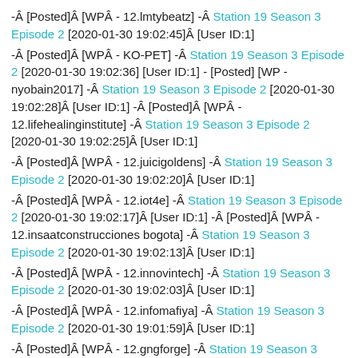-Â [Posted]Â [WPÂ - 12.lmtybeatz] -Â Station 19 Season 3 Episode 2 [2020-01-30 19:02:45]Â [User ID:1]
-Â [Posted]Â [WPÂ - KO-PET] -Â Station 19 Season 3 Episode 2 [2020-01-30 19:02:36] [User ID:1] - [Posted] [WP - nyobain2017] -Â Station 19 Season 3 Episode 2 [2020-01-30 19:02:28]Â [User ID:1] -Â [Posted]Â [WPÂ - 12.lifehealinginstitute] -Â Station 19 Season 3 Episode 2 [2020-01-30 19:02:25]Â [User ID:1]
-Â [Posted]Â [WPÂ - 12.juicigoldens] -Â Station 19 Season 3 Episode 2 [2020-01-30 19:02:20]Â [User ID:1]
-Â [Posted]Â [WPÂ - 12.iot4e] -Â Station 19 Season 3 Episode 2 [2020-01-30 19:02:17]Â [User ID:1] -Â [Posted]Â [WPÂ - 12.insaatconstrucciones bogota] -Â Station 19 Season 3 Episode 2 [2020-01-30 19:02:13]Â [User ID:1]
-Â [Posted]Â [WPÂ - 12.innovintech] -Â Station 19 Season 3 Episode 2 [2020-01-30 19:02:03]Â [User ID:1]
-Â [Posted]Â [WPÂ - 12.infomafiya] -Â Station 19 Season 3 Episode 2 [2020-01-30 19:01:59]Â [User ID:1]
-Â [Posted]Â [WPÂ - 12.gngforge] -Â Station 19 Season 3 Episode 2 [2020-01-30 19:01:55]Â [User ID:1]